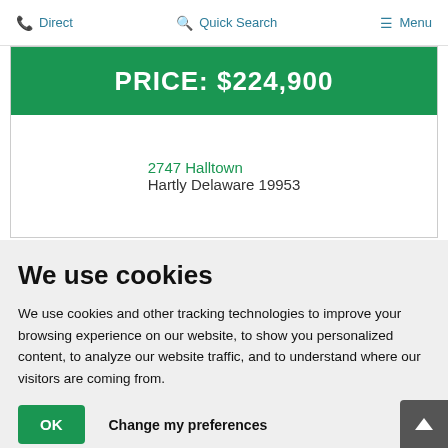Direct   Quick Search   Menu
PRICE: $224,900
2747 Halltown
Hartly Delaware 19953
We use cookies
We use cookies and other tracking technologies to improve your browsing experience on our website, to show you personalized content, to analyze our website traffic, and to understand where our visitors are coming from.
OK   Change my preferences